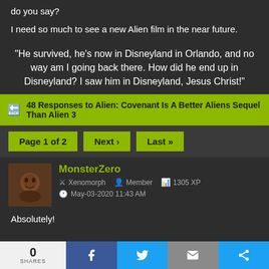do you say?
I need so much to see a new Alien film in the near future.
"He survived, he's now in Disneyland in Orlando, and no way am I going back there. How did he end up in Disneyland? I saw him in Disneyland, Jesus Christ!"
48 Responses to Alien: Covenant Is A Better Aliens Sequel Than Alien 3
Page 1 of 2  Next ›  Last »
MonsterZero
Xenomorph  Member  1305 XP
May-03-2020 11:43 AM
Absolutely!